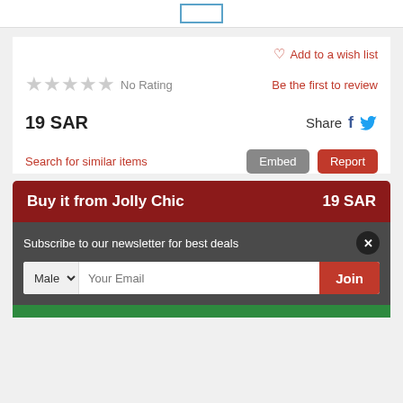[Figure (screenshot): Top white bar with a small blue-bordered placeholder rectangle icon centered at top]
Add to a wish list
★★★★★ No Rating
Be the first to review
19 SAR
Share
Search for similar items
Embed
Report
Buy it from Jolly Chic    19 SAR
Subscribe to our newsletter for best deals
Male  Your Email  Join